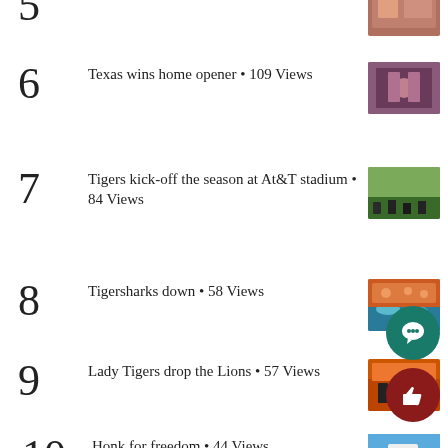5 [partial text cut off] • Views
6 Texas wins home opener • 109 Views
7 Tigers kick-off the season at At&T stadium • 84 Views
8 Tigersharks down • 58 Views
9 Lady Tigers drop the Lions • 57 Views
10 Honk for freedom • 44 Views